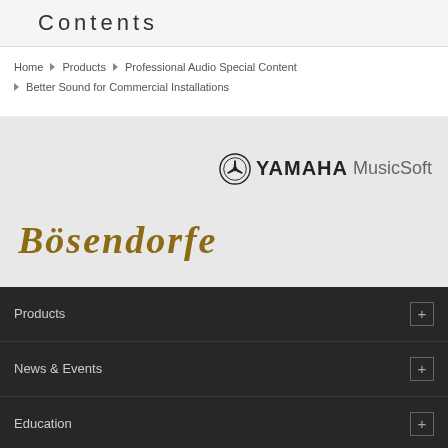Contents
Home ▶ Products ▶ Professional Audio Special Content ▶ Better Sound for Commercial Installations
[Figure (logo): YAMAHA MusicSoft logo with Yamaha circular emblem]
[Figure (logo): Bösendorfer logo in gold blackletter/gothic font]
Products
News & Events
Education